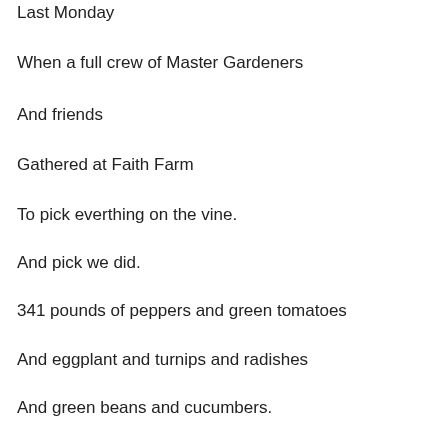Last Monday
When a full crew of Master Gardeners
And friends
Gathered at Faith Farm
To pick everthing on the vine.
And pick we did.
341 pounds of peppers and green tomatoes
And eggplant and turnips and radishes
And green beans and cucumbers.
Bringing us to an all time record
Of 4,027 pounds of fresh organic produce.